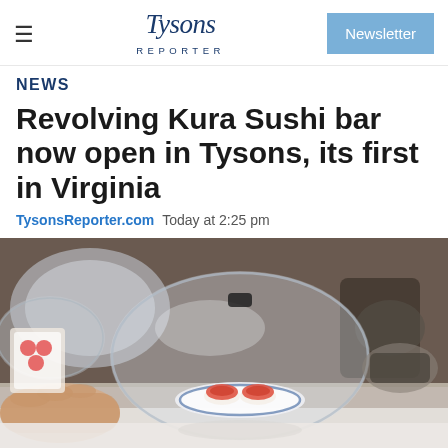Tysons Reporter | Newsletter
NEWS
Revolving Kura Sushi bar now open in Tysons, its first in Virginia
TysonsReporter.com  Today at 2:25pm
[Figure (photo): Close-up photograph of sushi pieces on a small blue-rimmed white plate being held under a clear plastic dome cover on a conveyor belt sushi bar, with other covered dishes and items visible in the background.]